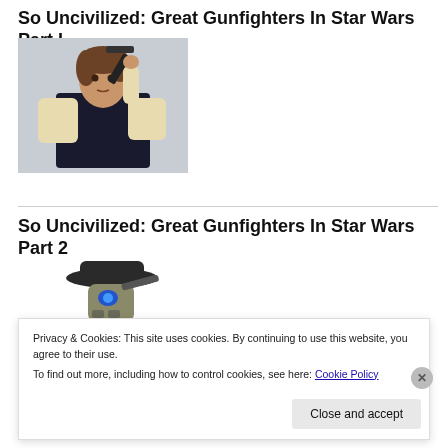So Uncivilized: Great Gunfighters In Star Wars Part I
[Figure (photo): A man in a black vest and cream shirt holding a gun raised above his shoulder, posed against a light blue-grey background — resembling Han Solo.]
So Uncivilized: Great Gunfighters In Star Wars Part 2
[Figure (photo): A robot character wearing a wide-brimmed black hat and holding a gun — resembling a Star Wars droid gunfighter.]
Privacy & Cookies: This site uses cookies. By continuing to use this website, you agree to their use.
To find out more, including how to control cookies, see here: Cookie Policy